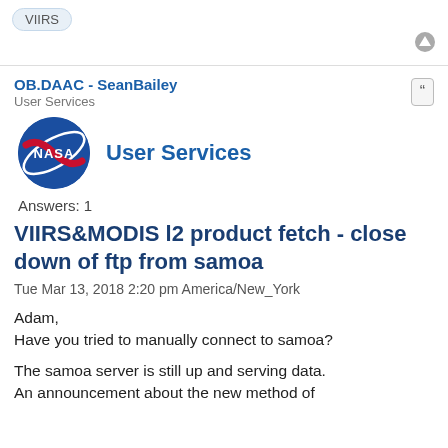VIIRS
OB.DAAC - SeanBailey
User Services
[Figure (logo): NASA meatball logo in blue circle with red chevron and white text, next to 'User Services' in blue text]
Answers: 1
VIIRS&MODIS l2 product fetch - close down of ftp from samoa
Tue Mar 13, 2018 2:20 pm America/New_York
Adam,
Have you tried to manually connect to samoa?

The samoa server is still up and serving data.
An announcement about the new method of